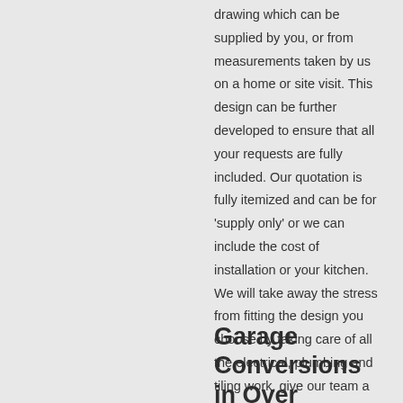drawing which can be supplied by you, or from measurements taken by us on a home or site visit. This design can be further developed to ensure that all your requests are fully included. Our quotation is fully itemized and can be for 'supply only' or we can include the cost of installation or your kitchen. We will take away the stress from fitting the design you choose by taking care of all the electrical, plumbing and tiling work, give our team a call today for a free quotation for a new kitchen installation in Over.
Garage Conversions in Over